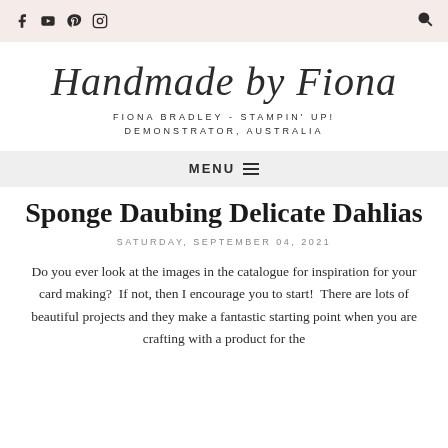f [youtube] [pinterest] [instagram] [search]
Handmade by Fiona
FIONA BRADLEY - STAMPIN' UP! DEMONSTRATOR, AUSTRALIA
MENU ≡
Sponge Daubing Delicate Dahlias
SATURDAY, SEPTEMBER 04, 2021
Do you ever look at the images in the catalogue for inspiration for your card making?  If not, then I encourage you to start!  There are lots of beautiful projects and they make a fantastic starting point when you are crafting with a product for the